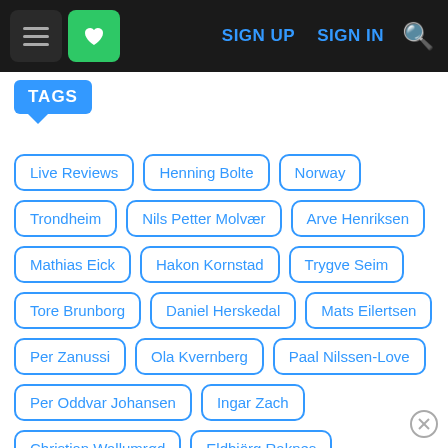Navigation bar with menu, heart/favorites button, SIGN UP, SIGN IN, and search icon
TAGS
Live Reviews
Henning Bolte
Norway
Trondheim
Nils Petter Molvær
Arve Henriksen
Mathias Eick
Hakon Kornstad
Trygve Seim
Tore Brunborg
Daniel Herskedal
Mats Eilertsen
Per Zanussi
Ola Kvernberg
Paal Nilssen-Love
Per Oddvar Johansen
Ingar Zach
Christian Wallumrød
Eldbjörg Raknes
Jonas Ladegaard
Emil Savery
Hedvig Mollestad
Kristoffer Berre Alberts
Ola Høyer
Gard Nilssen
Bjørn Kjellemyr
marius neset
Eivind Lønning